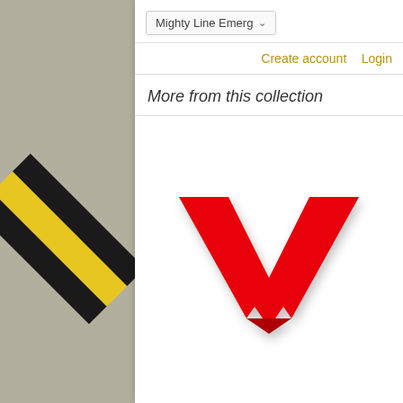[Figure (screenshot): Background concrete texture with diagonal yellow and black warning stripes on left and right sides]
Mighty Line Emerg ▾
Create account   Login
More from this collection
[Figure (photo): Red chevron / corner floor tape marker shape on white background, pointing downward like a checkmark]